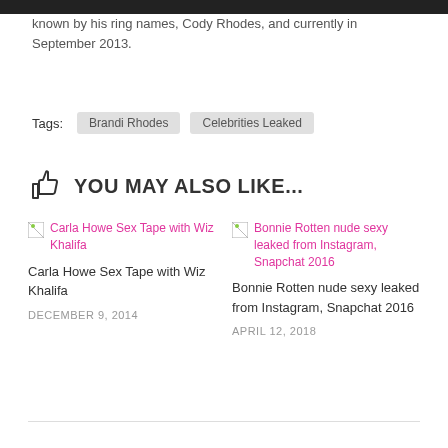known by his ring names, Cody Rhodes, and currently in September 2013.
Tags:  Brandi Rhodes  Celebrities Leaked
YOU MAY ALSO LIKE...
Carla Howe Sex Tape with Wiz Khalifa
Carla Howe Sex Tape with Wiz Khalifa
DECEMBER 9, 2014
Bonnie Rotten nude sexy leaked from Instagram, Snapchat 2016
Bonnie Rotten nude sexy leaked from Instagram, Snapchat 2016
APRIL 12, 2018